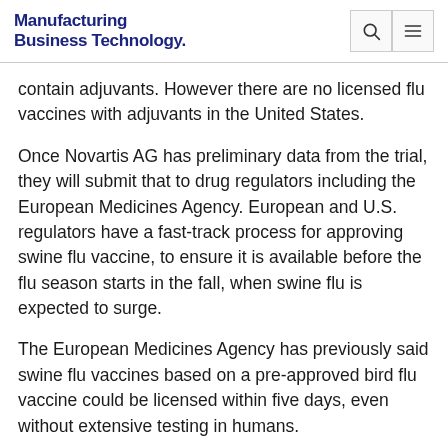Manufacturing Business Technology
contain adjuvants. However there are no licensed flu vaccines with adjuvants in the United States.
Once Novartis AG has preliminary data from the trial, they will submit that to drug regulators including the European Medicines Agency. European and U.S. regulators have a fast-track process for approving swine flu vaccine, to ensure it is available before the flu season starts in the fall, when swine flu is expected to surge.
The European Medicines Agency has previously said swine flu vaccines based on a pre-approved bird flu vaccine could be licensed within five days, even without extensive testing in humans.